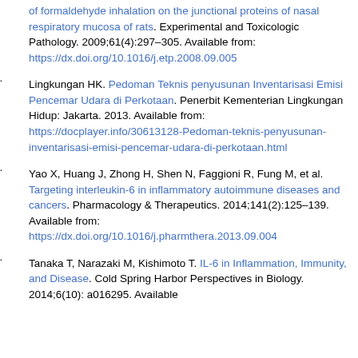of formaldehyde inhalation on the junctional proteins of nasal respiratory mucosa of rats. Experimental and Toxicologic Pathology. 2009;61(4):297–305. Available from: https://dx.doi.org/10.1016/j.etp.2008.09.005
2. Lingkungan HK. Pedoman Teknis penyusunan Inventarisasi Emisi Pencemar Udara di Perkotaan. Penerbit Kementerian Lingkungan Hidup: Jakarta. 2013. Available from: https://docplayer.info/30613128-Pedoman-teknis-penyusunan-inventarisasi-emisi-pencemar-udara-di-perkotaan.html
3. Yao X, Huang J, Zhong H, Shen N, Faggioni R, Fung M, et al. Targeting interleukin-6 in inflammatory autoimmune diseases and cancers. Pharmacology & Therapeutics. 2014;141(2):125–139. Available from: https://dx.doi.org/10.1016/j.pharmthera.2013.09.004
4. Tanaka T, Narazaki M, Kishimoto T. IL-6 in Inflammation, Immunity, and Disease. Cold Spring Harbor Perspectives in Biology. 2014;6(10):a016295. Available from: